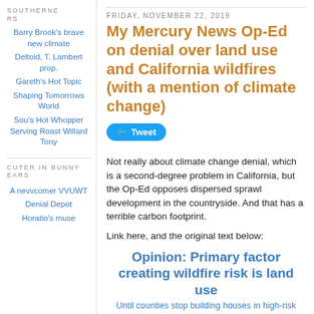SOUTHERNERS
Barry Brook's brave new climate
Deltoid, T. Lambert prop.
Gareth's Hot Topic
Shaping Tomorrows World
Sou's Hot Whopper Serving Roast Willard Tony
CUTER IN BUNNY EARS
A nevvcomer VVUWT
Denial Depot
Horatio's muse
FRIDAY, NOVEMBER 22, 2019
My Mercury News Op-Ed on denial over land use and California wildfires (with a mention of climate change)
Not really about climate change denial, which is a second-degree problem in California, but the Op-Ed opposes dispersed sprawl development in the countryside. And that has a terrible carbon footprint.
Link here, and the original text below:
Opinion: Primary factor creating wildfire risk is land use
Until counties stop building houses in high-risk